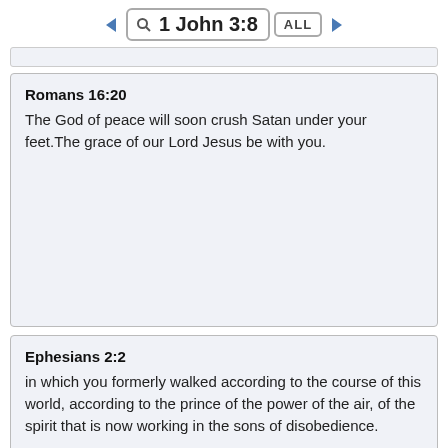1 John 3:8
Romans 16:20
The God of peace will soon crush Satan under your feet.The grace of our Lord Jesus be with you.
Ephesians 2:2
in which you formerly walked according to the course of this world, according to the prince of the power of the air, of the spirit that is now working in the sons of disobedience.